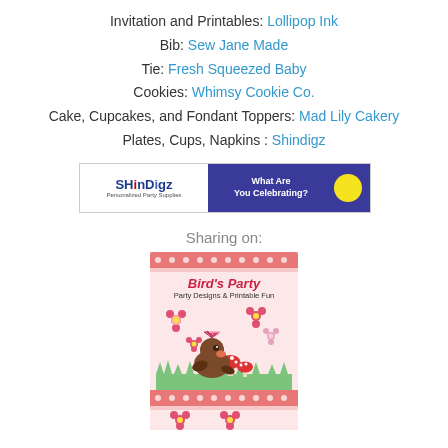Invitation and Printables: Lollipop Ink
Bib: Sew Jane Made
Tie: Fresh Squeezed Baby
Cookies: Whimsy Cookie Co.
Cake, Cupcakes, and Fondant Toppers: Mad Lily Cakery
Plates, Cups, Napkins : Shindigz
[Figure (screenshot): ShinDigz advertisement banner with blue background and yellow balloon, text 'What Are You Celebrating?']
Sharing on:
[Figure (illustration): Bird's Party blog badge showing a cute brown bird with party hat, red flowers, mushrooms, on pink polka dot background with text 'Bird's Party - Party Designs & Printable Fun']